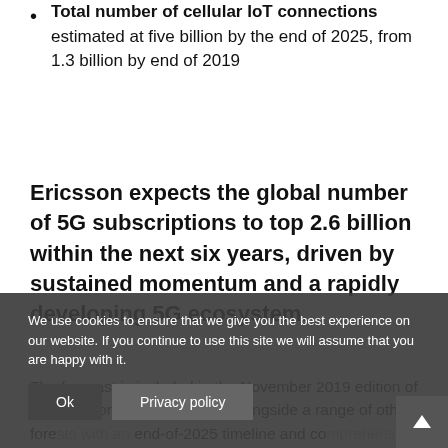Total number of cellular IoT connections estimated at five billion by the end of 2025, from 1.3 billion by end of 2019
Ericsson expects the global number of 5G subscriptions to top 2.6 billion within the next six years, driven by sustained momentum and a rapidly developing 5G ecosystem.
The forecast is included in the November 2019 edition of the Ericsson Mobility Report, alongside a range of other forecasts with an end-of-2025 timeline and comprehensive service provider insights.